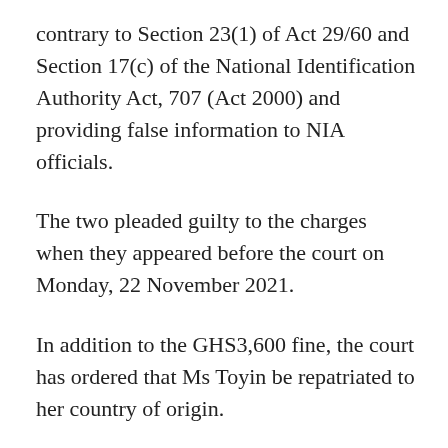contrary to Section 23(1) of Act 29/60 and Section 17(c) of the National Identification Authority Act, 707 (Act 2000) and providing false information to NIA officials.
The two pleaded guilty to the charges when they appeared before the court on Monday, 22 November 2021.
In addition to the GHS3,600 fine, the court has ordered that Ms Toyin be repatriated to her country of origin.